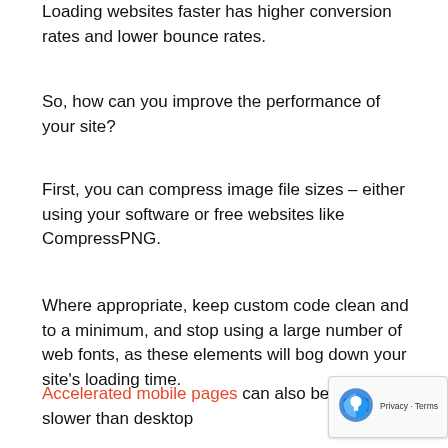Loading websites faster has higher conversion rates and lower bounce rates.
So, how can you improve the performance of your site?
First, you can compress image file sizes – either using your software or free websites like CompressPNG.
Where appropriate, keep custom code clean and to a minimum, and stop using a large number of web fonts, as these elements will bog down your site's loading time.
Accelerated mobile pages can also be allowed (AMP). This aids site speed on handheld computers, which could be slower than desktop. In other words, AMP enables you to improve the